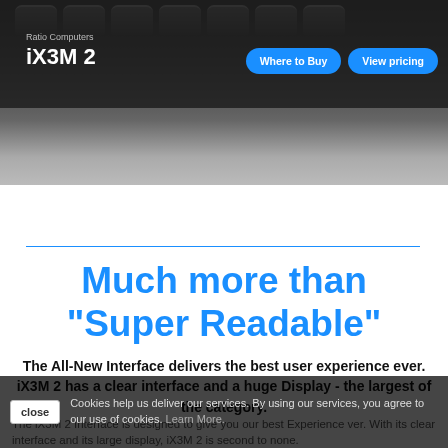Ratio Computers iX3M 2 | Where to Buy | View pricing
[Figure (photo): Dark keyboard photo used as background header image]
Much more than "Super Readable"
The All-New Interface delivers the best user experience ever. iX3M 2 has a clear interface and a huge Display - the largest of the category.
The iX3M 2 Interface is designed to give you our best Experience ver. With its clear interface and its large display, iX3M 2 is second to none.
Cookies help us deliver our services. By using our services, you agree to our use of cookies. Learn More.